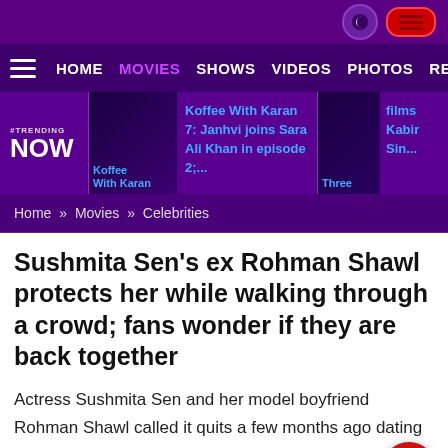#TRENDING NOW | Koffee With Karan 7: Janhvi joins Sara Ali Khan in episode 2;... | Three films Kabir...
HOME  MOVIES  SHOWS  VIDEOS  PHOTOS  REVI
Home » Movies » Celebrities
Sushmita Sen's ex Rohman Shawl protects her while walking through a crowd; fans wonder if they are back together
Actress Sushmita Sen and her model boyfriend Rohman Shawl called it quits a few months ago dating for three long years. But they decided to remain friends.